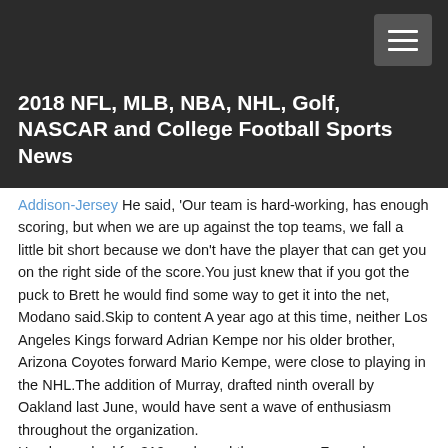2018 NFL, MLB, NBA, NHL, Golf, NASCAR and College Football Sports News
Addison-Jersey He said, 'Our team is hard-working, has enough scoring, but when we are up against the top teams, we fall a little bit short because we don't have the player that can get you on the right side of the score.You just knew that if you got the puck to Brett he would find some way to get it into the net, Modano said.Skip to content A year ago at this time, neither Los Angeles Kings forward Adrian Kempe nor his older brother, Arizona Coyotes forward Mario Kempe, were close to playing in the NHL.The addition of Murray, drafted ninth overall by Oakland last June, would have sent a wave of enthusiasm throughout the organization.
He also rushed for 319 yards and three scores.Four players were elected to the Baseball Hall of Fame by the voter's this year, and two more by the veterans committee.VMI won all three games this season against Western Carolina.Both Jokinen and Cammalleri signed one-year deals with their respective teams this offseason, and in a rare move, both the Oilers and Kings have deemed it worthwhile to swap the duo in hopes that a change of scenery